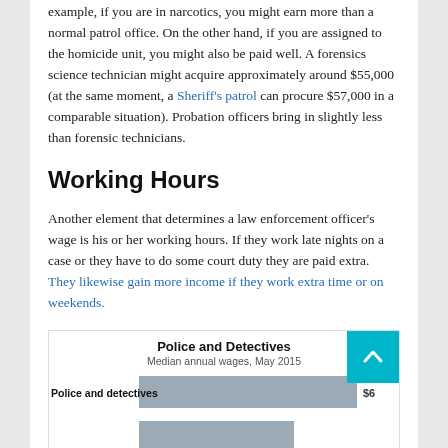example, if you are in narcotics, you might earn more than a normal patrol office. On the other hand, if you are assigned to the homicide unit, you might also be paid well. A forensics science technician might acquire approximately around $55,000 (at the same moment, a Sheriff's patrol can procure $57,000 in a comparable situation). Probation officers bring in slightly less than forensic technicians.
Working Hours
Another element that determines a law enforcement officer's wage is his or her working hours. If they work late nights on a case or they have to do some court duty they are paid extra. They likewise gain more income if they work extra time or on weekends.
[Figure (bar-chart): Police and Detectives]